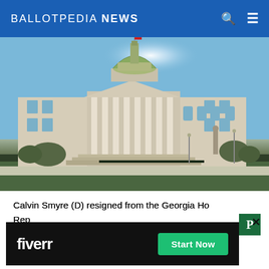BALLOTPEDIA NEWS
[Figure (photo): Photo of the Georgia State Capitol building with green dome, classical columns, statue, and surrounding grounds under a clear blue sky]
Calvin Smyre (D) resigned from the Georgia House of Representatives in 2021 to take the position of ambassador appointed by President Joe Biden (D). Smyre served from 1975 to